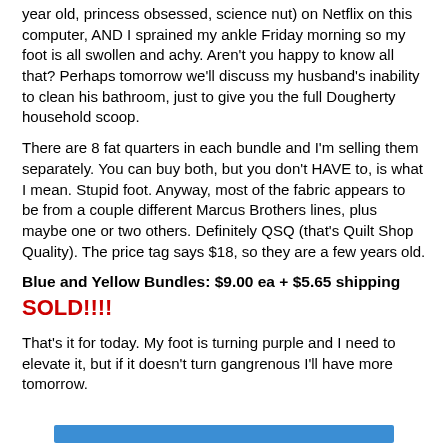year old, princess obsessed, science nut) on Netflix on this computer, AND I sprained my ankle Friday morning so my foot is all swollen and achy. Aren't you happy to know all that? Perhaps tomorrow we'll discuss my husband's inability to clean his bathroom, just to give you the full Dougherty household scoop.
There are 8 fat quarters in each bundle and I'm selling them separately. You can buy both, but you don't HAVE to, is what I mean. Stupid foot. Anyway, most of the fabric appears to be from a couple different Marcus Brothers lines, plus maybe one or two others. Definitely QSQ (that's Quilt Shop Quality). The price tag says $18, so they are a few years old.
Blue and Yellow Bundles: $9.00 ea + $5.65 shipping
SOLD!!!!
That's it for today. My foot is turning purple and I need to elevate it, but if it doesn't turn gangrenous I'll have more tomorrow.